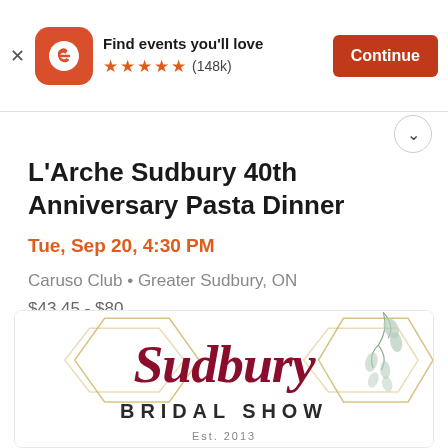[Figure (screenshot): Eventbrite app banner with logo, 'Find events you'll love', 5 star rating (148k reviews), and Continue button]
L'Arche Sudbury 40th Anniversary Pasta Dinner
Tue, Sep 20, 4:30 PM
Caruso Club • Greater Sudbury, ON
$43.45 - $80
[Figure (logo): Sudbury Bridal Show logo with decorative diamond geometric frame and botanical illustration, script text 'Sudbury' and serif text 'BRIDAL SHOW']